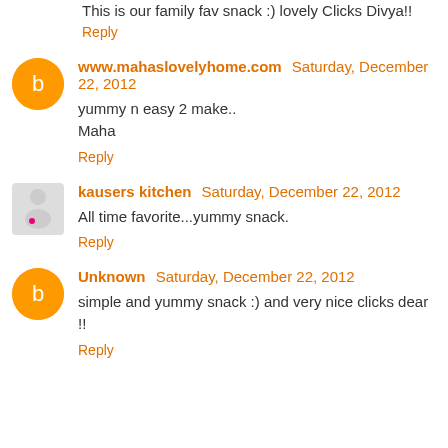This is our family fav snack :) lovely Clicks Divya!!
Reply
www.mahaslovelyhome.com Saturday, December 22, 2012
yummy n easy 2 make..
Maha
Reply
kausers kitchen Saturday, December 22, 2012
All time favorite...yummy snack.
Reply
Unknown Saturday, December 22, 2012
simple and yummy snack :) and very nice clicks dear !!
Reply